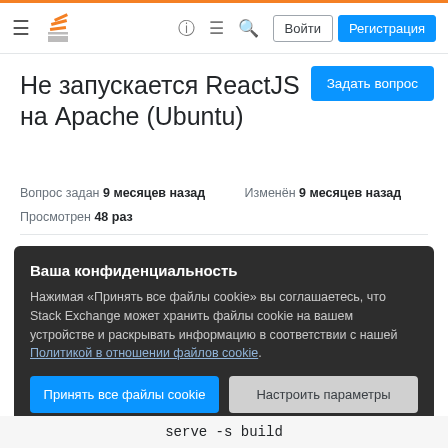Stack Overflow – navigation header with logo, icons, Войти and Регистрация buttons
Не запускается ReactJS на Apache (Ubuntu)
Вопрос задан 9 месяцев назад   Изменён 9 месяцев назад
Просмотрен 48 раз
Задать вопрос
Ваша конфиденциальность
Нажимая «Принять все файлы cookie» вы соглашаетесь, что Stack Exchange может хранить файлы cookie на вашем устройстве и раскрывать информацию в соответствии с нашей Политикой в отношении файлов cookie.
Принять все файлы cookie
Настроить параметры
serve -s build